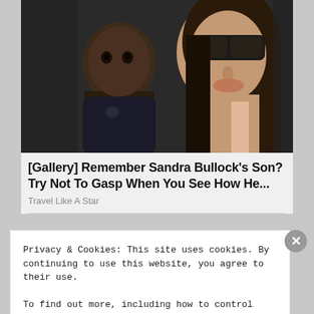[Figure (photo): Photo of a woman wearing sunglasses holding a young child, both looking toward camera, outdoors with dark background.]
[Gallery] Remember Sandra Bullock's Son? Try Not To Gasp When You See How He...
Travel Like A Star
Privacy & Cookies: This site uses cookies. By continuing to use this website, you agree to their use.
To find out more, including how to control cookies, see here: Cookie Policy
Close and accept